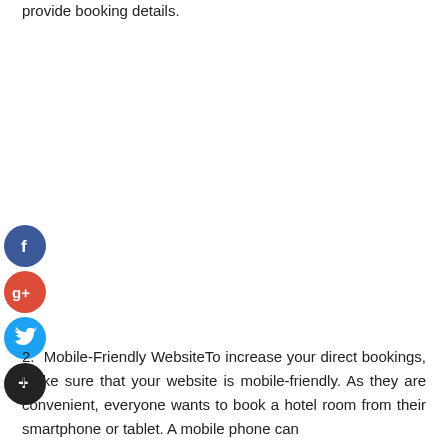provide booking details.
[Figure (infographic): Social media share/follow icons: Facebook (blue circle with f), Google+ (red circle with g+), Twitter (blue circle with bird), Add/More (dark circle with +)]
2. Mobile-Friendly WebsiteTo increase your direct bookings, make sure that your website is mobile-friendly. As they are convenient, everyone wants to book a hotel room from their smartphone or tablet. A mobile phone can